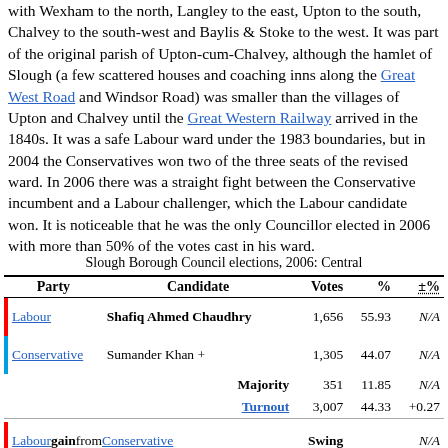with Wexham to the north, Langley to the east, Upton to the south, Chalvey to the south-west and Baylis & Stoke to the west. It was part of the original parish of Upton-cum-Chalvey, although the hamlet of Slough (a few scattered houses and coaching inns along the Great West Road and Windsor Road) was smaller than the villages of Upton and Chalvey until the Great Western Railway arrived in the 1840s. It was a safe Labour ward under the 1983 boundaries, but in 2004 the Conservatives won two of the three seats of the revised ward. In 2006 there was a straight fight between the Conservative incumbent and a Labour challenger, which the Labour candidate won. It is noticeable that he was the only Councillor elected in 2006 with more than 50% of the votes cast in his ward.
| Party | Candidate | Votes | % | ±% |
| --- | --- | --- | --- | --- |
| Labour | Shafiq Ahmed Chaudhry | 1,656 | 55.93 | N/A |
| Conservative | Sumander Khan + | 1,305 | 44.07 | N/A |
|  | Majority | 351 | 11.85 | N/A |
|  | Turnout | 3,007 | 44.33 | +0.27 |
| Labour gain from Conservative |  | Swing | N/A |  |